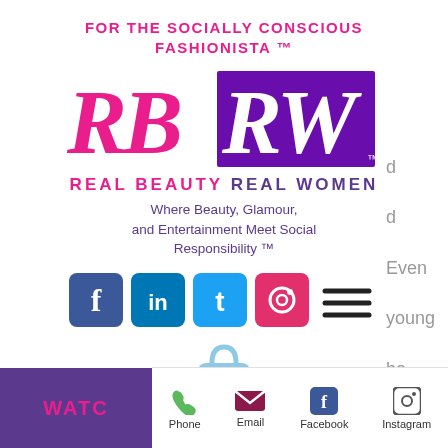FOR THE SOCIALLY CONSCIOUS FASHIONISTA ™
[Figure (logo): RBRW logo — RB in pink italic serif, RW in white italic serif on purple background with TM mark]
REAL BEAUTY REAL WOMEN
Where Beauty, Glamour, and Entertainment Meet Social Responsibility ™
[Figure (illustration): Social media icons: Facebook, LinkedIn, Twitter, Instagram plus hamburger menu icon]
[Figure (illustration): Shopping bag icon with 0 count]
[Figure (illustration): Donate button (PayPal style)]
Phone  Email  Facebook  Instagram